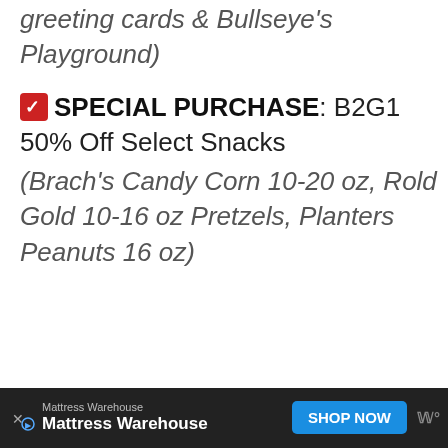greeting cards & Bullseye's Playground)
✅ SPECIAL PURCHASE: B2G1 50% Off Select Snacks (Brach's Candy Corn 10-20 oz, Rold Gold 10-16 oz Pretzels, Planters Peanuts 16 oz)
[Figure (other): Advertisement banner: Mattress Warehouse with SHOP NOW button]